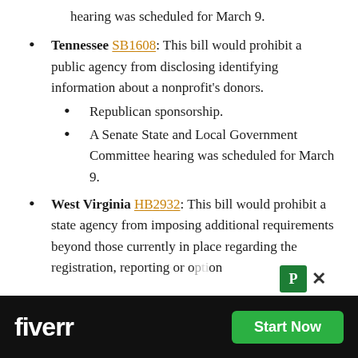hearing was scheduled for March 9.
Tennessee SB1608: This bill would prohibit a public agency from disclosing identifying information about a nonprofit's donors.
Republican sponsorship.
A Senate State and Local Government Committee hearing was scheduled for March 9.
West Virginia HB2932: This bill would prohibit a state agency from imposing additional requirements beyond those currently in place regarding the registration, reporting or o[...] on
[Figure (other): Fiverr advertisement banner at the bottom of the page with 'Start Now' green button]
The bill was introduced on March 5 and...